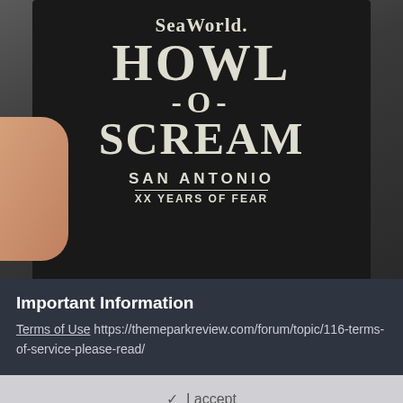[Figure (photo): A hand holding a black SeaWorld Howl-O-Scream San Antonio koozie/can cooler with white text reading 'SeaWorld. HOWL -O- SCREAM SAN ANTONIO XX YEARS OF FEAR']
Important Information
Terms of Use https://themeparkreview.com/forum/topic/116-terms-of-service-please-read/
✓  I accept